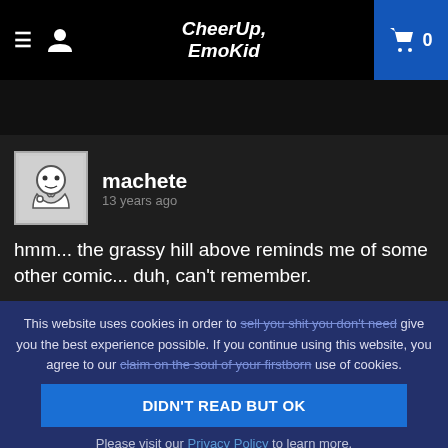CheerUp, EmoKid — navigation header with menu, user icon, logo, and cart (0)
machete
13 years ago
hmm... the grassy hill above reminds me of some other comic... duh, can't remember.
This website uses cookies in order to sell you shit you don't need give you the best experience possible. If you continue using this website, you agree to our claim on the soul of your firstborn use of cookies.
DIDN'T READ BUT OK
Please visit our Privacy Policy to learn more.